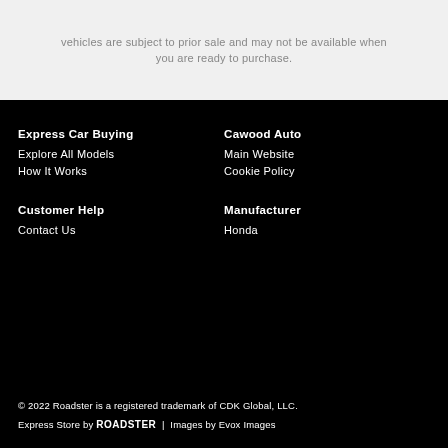vehicles are subject to prior sale and may not be available when you are ready to purchase.
Express Car Buying
Explore All Models
How It Works
Cawood Auto
Main Website
Cookie Policy
Customer Help
Contact Us
Manufacturer
Honda
© 2022 Roadster is a registered trademark of CDK Global, LLC. Express Store by ROADSTER  |  Images by Evox Images